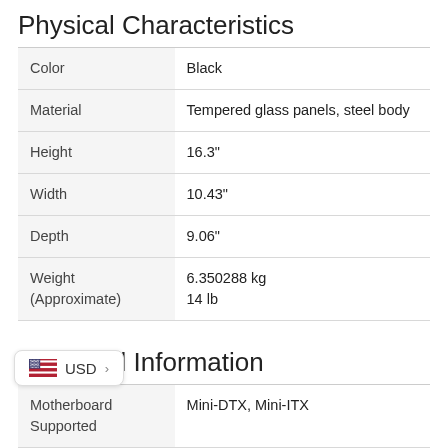Physical Characteristics
| Attribute | Value |
| --- | --- |
| Color | Black |
| Material | Tempered glass panels, steel body |
| Height | 16.3" |
| Width | 10.43" |
| Depth | 9.06" |
| Weight (Approximate) | 6.350288 kg
14 lb |
Technical Information
| Attribute | Value |
| --- | --- |
| Motherboard Supported | Mini-DTX, Mini-ITX |
| Number of Fans | 2 |
| Number of Fans | 2 |